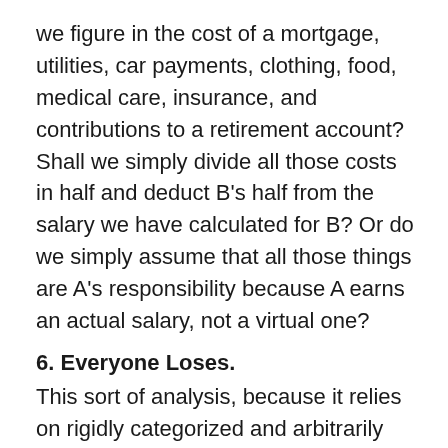we figure in the cost of a mortgage, utilities, car payments, clothing, food, medical care, insurance, and contributions to a retirement account? Shall we simply divide all those costs in half and deduct B's half from the salary we have calculated for B? Or do we simply assume that all those things are A's responsibility because A earns an actual salary, not a virtual one?
6. Everyone Loses.
This sort of analysis, because it relies on rigidly categorized and arbitrarily assigned ideas about what the husband and the wife do in a marriage, is actually kind of insulting to everyone. It insults the women and those who stay in the home, whom it claims to be valuing, by calculating that value in monetary rather than personal terms. It insults wage-earners by reducing their contribution to a paycheck. It insults all the people who